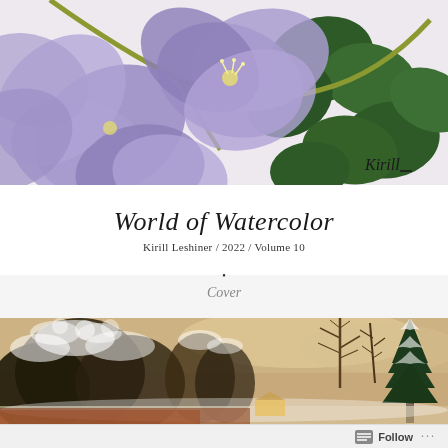[Figure (illustration): Watercolor painting of purple/violet clematis flowers with green leaves on a light cream/beige background, signed 'Kirill' in the lower right corner]
World of Watercolor
Kirill Leshiner / 2022 / Volume 10
Cover
[Figure (illustration): Watercolor painting of a winter landscape scene with snow-covered trees, bare branches, and an evergreen tree on the right, warm golden/amber tones with a house visible in the background]
Follow